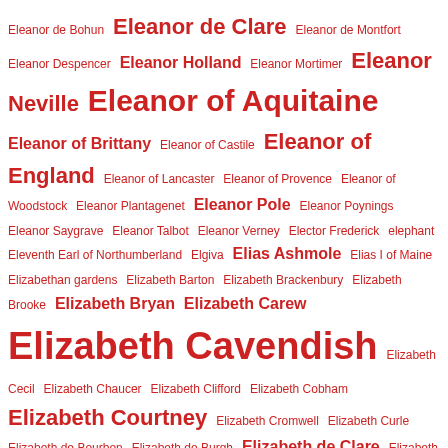Eleanor de Bohun Eleanor de Clare Eleanor de Montfort Eleanor Despencer Eleanor Holland Eleanor Mortimer Eleanor Neville Eleanor of Aquitaine Eleanor of Brittany Eleanor of Castile Eleanor of England Eleanor of Lancaster Eleanor of Provence Eleanor of Woodstock Eleanor Plantagenet Eleanor Pole Eleanor Poynings Eleanor Saygrave Eleanor Talbot Eleanor Verney Elector Frederick elephant Eleventh Earl of Northumberland Elgiva Elias Ashmole Elias I of Maine Elizabethan gardens Elizabeth Barton Elizabeth Brackenbury Elizabeth Brooke Elizabeth Bryan Elizabeth Carew Elizabeth Cavendish Elizabeth Cecil Elizabeth Chaucer Elizabeth Clifford Elizabeth Cobham Elizabeth Courtney Elizabeth Cromwell Elizabeth Curle Elizabeth de Bourbon Elizabeth de Burgh Elizabeth de Clare Elizabeth Denton Elizabeth de Roet Elizabeth de Roos Elizabeth de Vere Elizabeth Dudley Elizabeth Ferrers Elizabeth Ferrers' of Wem Elizabeth FitzRoy Elizabeth Grey Elizabeth Grey of Ruthyn Elizabeth Hastings Elizabeth Hay Elizabeth I